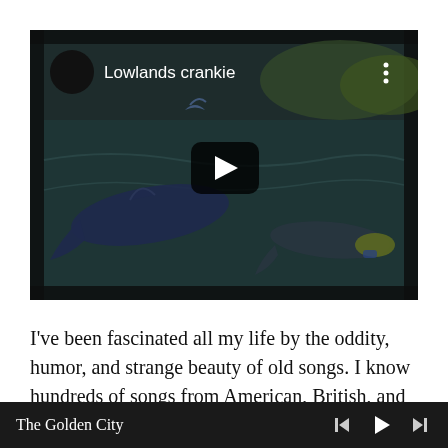[Figure (screenshot): Video thumbnail titled 'Lowlands crankie' showing an animated scene with whales underwater, dark teal/green ocean background. A large black circle (profile icon) is in the top-left. A play button (black rounded rectangle with white triangle) is centered. Three dots (menu) in top-right.]
I've been fascinated all my life by the oddity, humor, and strange beauty of old songs. I know hundreds of songs from American, British, and
The Golden City